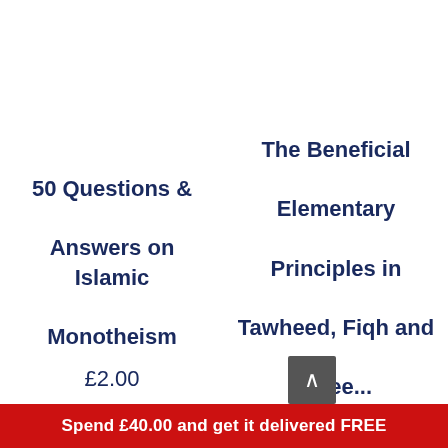50 Questions & Answers on Islamic Monotheism
£2.00
The Beneficial Elementary Principles in Tawheed, Fiqh and Aqee...
Spend £40.00 and get it delivered FREE